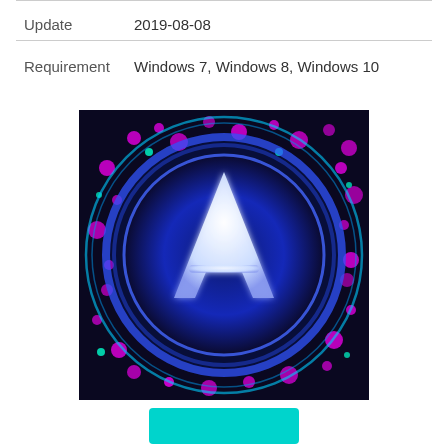| Update | 2019-08-08 |
| Requirement | Windows 7, Windows 8, Windows 10 |
[Figure (logo): App logo featuring a glowing white letter A on a dark blue circular background with blue and cyan concentric rings and colorful magenta and cyan dot patterns on a dark background]